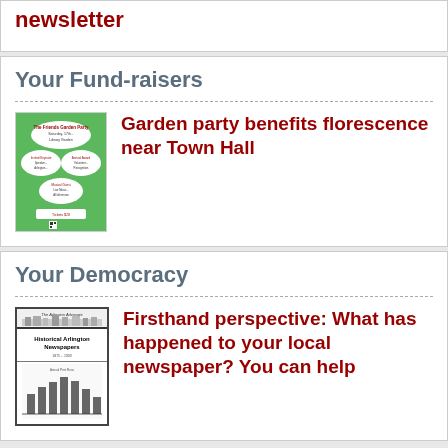newsletter
Your Fund-raisers
[Figure (illustration): Thumbnail image of a garden party flyer with cloud-shaped text bubbles on a green background, titled 'The Friends Garden Party']
Garden party benefits florescence near Town Hall
Your Democracy
[Figure (illustration): Thumbnail image of a newspaper cover titled 'The Arlington Advocate - Historical Arlington Newspapers' with bar chart at bottom]
Firsthand perspective: What has happened to your local newspaper? You can help